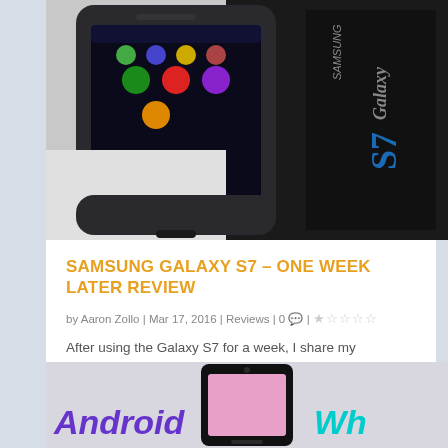[Figure (photo): Close-up photograph of Samsung Galaxy S7 smartphone next to its retail box showing 'Samsung Galaxy S7' branding]
SAMSUNG GALAXY S7 – ONE WEEK LATER REVIEW
by Aaron Zollo | Mar 17, 2016 | Reviews | 0 💬 | ★☆☆☆☆
After using the Galaxy S7 for a week, I share my experience, thoughts and opinion on…
READ MORE
[Figure (photo): Bottom portion of another article card showing an Android smartphone with pink screen, with text 'Android' visible in purple on the left and partial cyan text on the right]